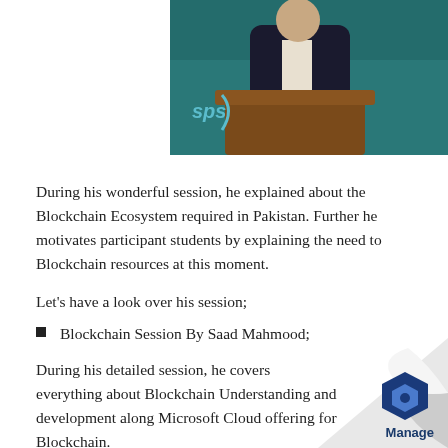[Figure (photo): A man in a dark suit standing at a wooden podium presenting, with a teal/green background and an SPS logo visible on the left.]
During his wonderful session, he explained about the Blockchain Ecosystem required in Pakistan. Further he motivates participant students by explaining the need to Blockchain resources at this moment.
Let's have a look over his session;
Blockchain Session By Saad Mahmood;
During his detailed session, he covers everything about Blockchain Understanding and development along Microsoft Cloud offering for Blockchain.
[Figure (logo): Manage logo with a blue hexagon icon and the word Manage below it, positioned on a curled page corner decoration.]